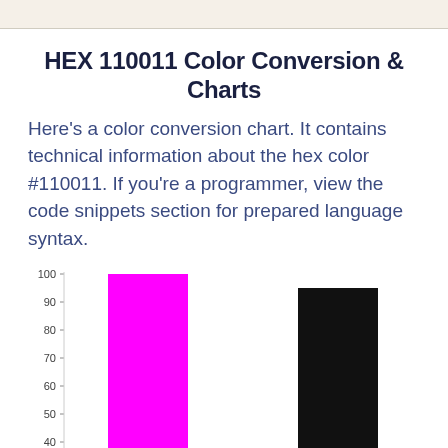HEX 110011 Color Conversion & Charts
Here's a color conversion chart. It contains technical information about the hex color #110011. If you're a programmer, view the code snippets section for prepared language syntax.
[Figure (bar-chart): Color channel values]